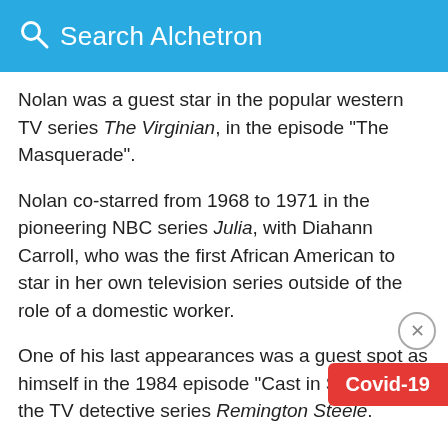Search Alchetron
Nolan was a guest star in the popular western TV series The Virginian, in the episode "The Masquerade".
Nolan co-starred from 1968 to 1971 in the pioneering NBC series Julia, with Diahann Carroll, who was the first African American to star in her own television series outside of the role of a domestic worker.
One of his last appearances was a guest spot as himself in the 1984 episode "Cast in Steele" on the TV detective series Remington Steele.
On February 8, 1960, Nolan received a s